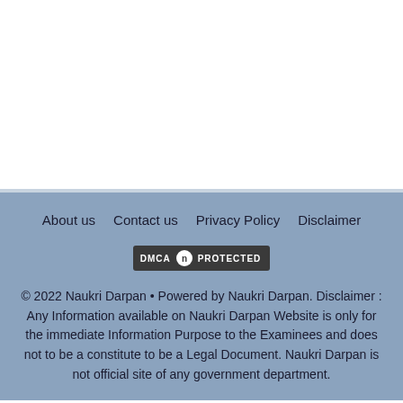About us   Contact us   Privacy Policy   Disclaimer
[Figure (logo): DMCA Protected badge with dark background, showing 'DMCA' text, a circular icon with 'n', and 'PROTECTED' text]
© 2022 Naukri Darpan • Powered by Naukri Darpan. Disclaimer : Any Information available on Naukri Darpan Website is only for the immediate Information Purpose to the Examinees and does not to be a constitute to be a Legal Document. Naukri Darpan is not official site of any government department.